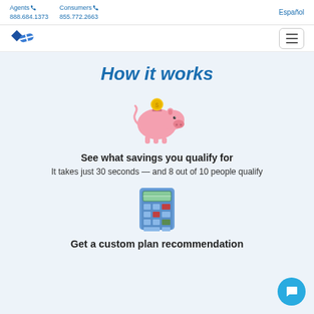Agents 888.684.1373   Consumers 855.772.2663   Español
[Figure (logo): Blue diamond/heart logo icon]
How it works
[Figure (illustration): Pink piggy bank with gold coin illustration]
See what savings you qualify for
It takes just 30 seconds — and 8 out of 10 people qualify
[Figure (illustration): Blue calculator illustration]
Get a custom plan recommendation